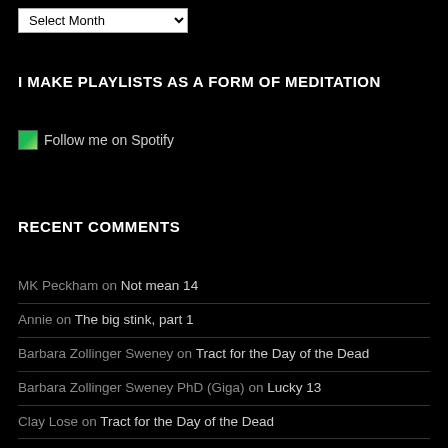[Figure (other): Dropdown select menu with 'Select Month' placeholder]
I MAKE PLAYLISTS AS A FORM OF MEDITATION
Follow me on Spotify
RECENT COMMENTS
MK Peckham on Not mean 14
Annie on The big stink, part 1
Barbara Zollinger Sweney on Tract for the Day of the Dead
Barbara Zollinger Sweney PhD (Giga) on Lucky 13
Clay Lose on Tract for the Day of the Dead